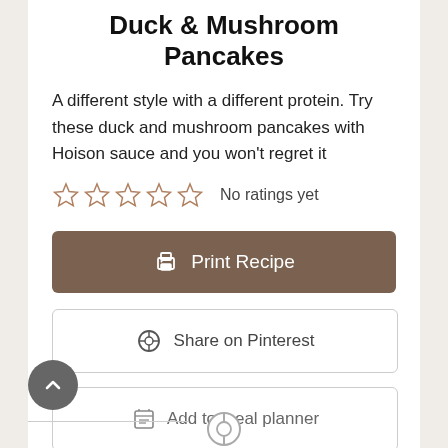Duck & Mushroom Pancakes
A different style with a different protein. Try these duck and mushroom pancakes with Hoison sauce and you won't regret it
☆☆☆☆☆ No ratings yet
🖨 Print Recipe
⊕ Share on Pinterest
📋 Add to meal planner